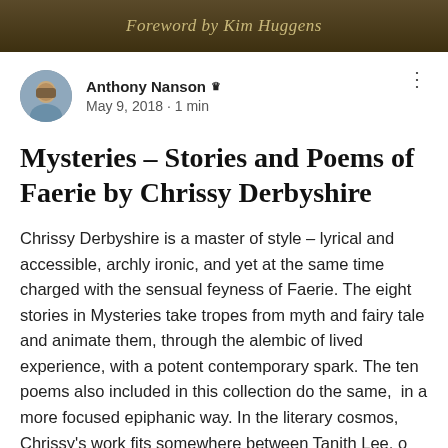[Figure (illustration): Dark olive/brown banner with italic serif text reading 'Foreword by Kim Huggens']
Anthony Nanson 👑
May 9, 2018 · 1 min
Mysteries – Stories and Poems of Faerie by Chrissy Derbyshire
Chrissy Derbyshire is a master of style – lyrical and accessible, archly ironic, and yet at the same time charged with the sensual feyness of Faerie. The eight stories in Mysteries take tropes from myth and fairy tale and animate them, through the alembic of lived experience, with a potent contemporary spark. The ten poems also included in this collection do the same,  in a more focused epiphanic way. In the literary cosmos, Chrissy's work fits somewhere between Tanith Lee, o